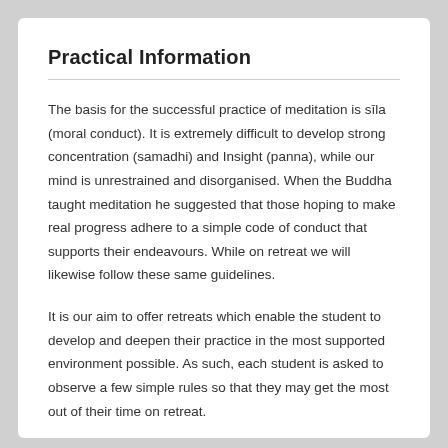Practical Information
The basis for the successful practice of meditation is sīla (moral conduct). It is extremely difficult to develop strong concentration (samadhi) and Insight (panna), while our mind is unrestrained and disorganised. When the Buddha taught meditation he suggested that those hoping to make real progress adhere to a simple code of conduct that supports their endeavours. While on retreat we will likewise follow these same guidelines.
It is our aim to offer retreats which enable the student to develop and deepen their practice in the most supported environment possible. As such, each student is asked to observe a few simple rules so that they may get the most out of their time on retreat.
Noble Silence is one of these rules.